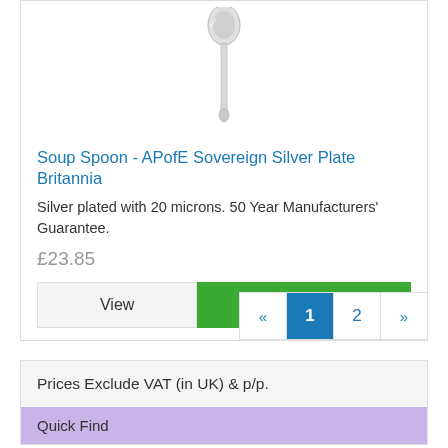[Figure (photo): Photo of a silver soup spoon handle/top portion on white background]
Soup Spoon - APofE Sovereign Silver Plate Britannia
Silver plated with 20 microns. 50 Year Manufacturers' Guarantee.
£23.85
View  Buy
« 1 2 »
Prices Exclude VAT (in UK) & p/p.
Quick Find